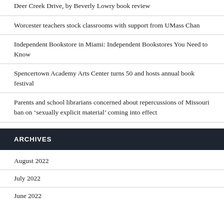Deer Creek Drive, by Beverly Lowry book review
Worcester teachers stock classrooms with support from UMass Chan
Independent Bookstore in Miami: Independent Bookstores You Need to Know
Spencertown Academy Arts Center turns 50 and hosts annual book festival
Parents and school librarians concerned about repercussions of Missouri ban on ‘sexually explicit material’ coming into effect
ARCHIVES
August 2022
July 2022
June 2022